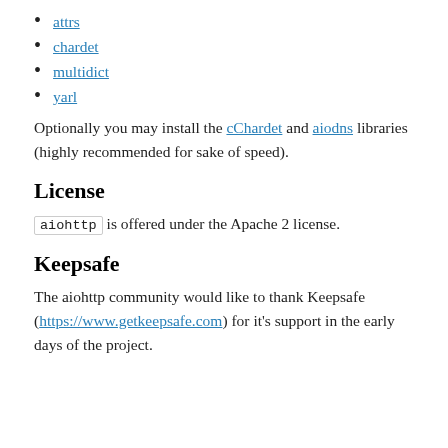attrs
chardet
multidict
yarl
Optionally you may install the cChardet and aiodns libraries (highly recommended for sake of speed).
License
aiohttp is offered under the Apache 2 license.
Keepsafe
The aiohttp community would like to thank Keepsafe (https://www.getkeepsafe.com) for it's support in the early days of the project.